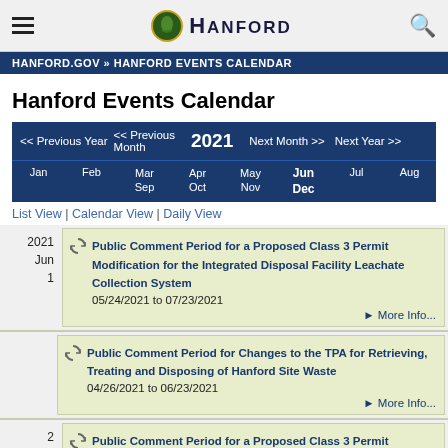HANFORD
HANFORD.GOV » HANFORD EVENTS CALENDAR
Hanford Events Calendar
<< Previous Year  << Previous Month  2021  Next Month >>  Next Year >>
Jan  Feb  Mar Sep  Apr Oct  May Nov  Jun Dec  Jul  Aug
List View | Calendar View | Daily View
2021 Jun 1
Public Comment Period for a Proposed Class 3 Permit Modification for the Integrated Disposal Facility Leachate Collection System
05/24/2021 to 07/23/2021
More Info...
Public Comment Period for Changes to the TPA for Retrieving, Treating and Disposing of Hanford Site Waste
04/26/2021 to 06/23/2021
More Info...
2
Public Comment Period for a Proposed Class 3 Permit Modification for the Integrated Disposal Facility Leachate Collection System
05/24/2021 to 07/23/2021
More Info...